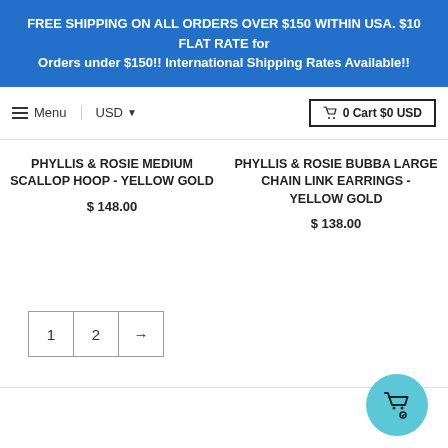FREE SHIPPING ON ALL ORDERS OVER $150 WITHIN USA. $10 FLAT RATE for Orders under $150!! International Shipping Rates Available!!
Menu  USD  0 Cart $0 USD
PHYLLIS & ROSIE MEDIUM SCALLOP HOOP - YELLOW GOLD
$ 148.00
PHYLLIS & ROSIE BUBBA LARGE CHAIN LINK EARRINGS - YELLOW GOLD
$ 138.00
1  2  →